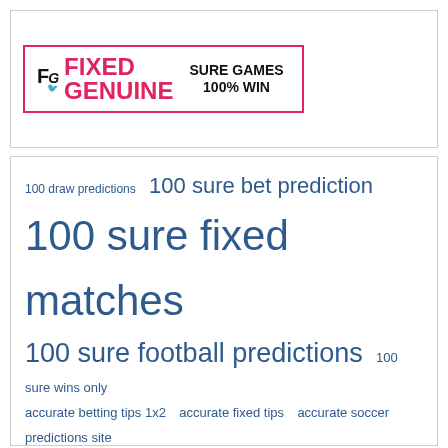[Figure (logo): Fixed Genuine logo with pink border, FG icon in black, 'FIXED GENUINE' in pink bold uppercase, 'SURE GAMES 100% WIN' in black bold]
100 draw predictions  100 sure bet prediction  100 sure fixed matches  100 sure football predictions  100 sure wins only  accurate betting tips 1x2  accurate fixed tips  accurate soccer predictions site  accurate soccer predictions website  best combo fixed matches  best fixed matches  best fixed matches 1x2  best tips 1x2  betting football fixed match  betting free tips 1x2  betting tips 1x2 free  big odds fixed matches  daily fixed matches  fixed match  fixed matches  fixed matches 1x2  fixed matches best source  fixed matches ht ft  fixed matches single betting  fixed matches today  football fixed matches  free and fixed matches today  free betting tips 1x2  free fixed matches  free tips 1x2  get fixed match  hot fixed matches